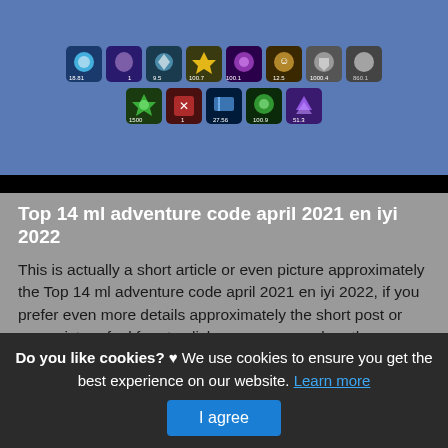[Figure (screenshot): Game inventory screen showing colorful ability/item icons arranged in two rows on a blue-grey background]
Top 14 ml adventure code april 2021 en iyi 2022
This is actually a short article or even picture approximately the Top 14 ml adventure code april 2021 en iyi 2022, if you prefer even more details approximately the short post or even picture feel free to click on or even explore the complying with web link or even web link .
(Read More)
Source: daitoryo-movie.com Visit Web
Do you like cookies? ♥ We use cookies to ensure you get the best experience on our website. Learn more I agree